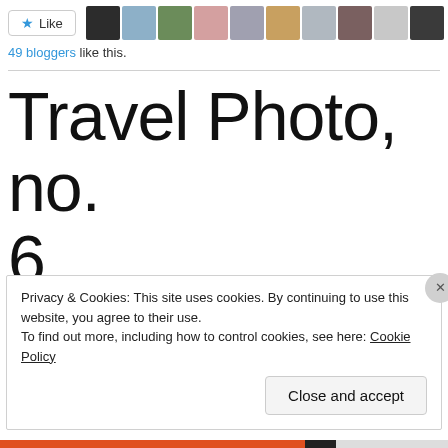[Figure (screenshot): Like button with star icon, and a row of 10 blogger avatar thumbnails]
49 bloggers like this.
Travel Photo, no. 6
Privacy & Cookies: This site uses cookies. By continuing to use this website, you agree to their use.
To find out more, including how to control cookies, see here: Cookie Policy
Close and accept